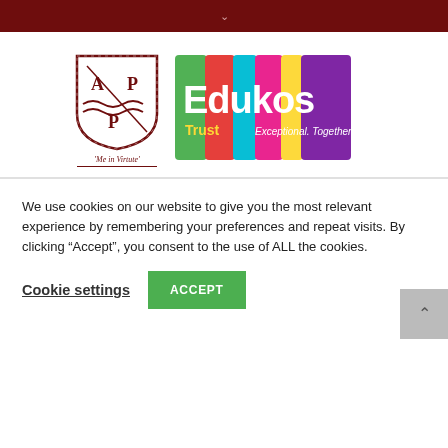[Figure (logo): APP school shield logo with letters A, P, P and wave motif in dark red, alongside Edukos Trust logo with colorful paint-brush stripe background and text 'Edukos Trust Exceptional. Together.']
'Me in Virtute'
We use cookies on our website to give you the most relevant experience by remembering your preferences and repeat visits. By clicking “Accept”, you consent to the use of ALL the cookies.
Cookie settings   ACCEPT